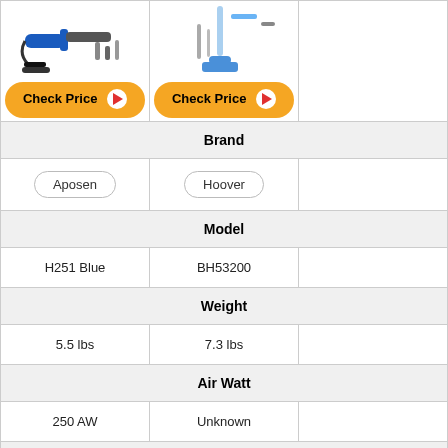[Figure (photo): Vacuum cleaner product image for Aposen H251 Blue with accessories]
[Figure (photo): Vacuum cleaner product image for Hoover BH53200 with accessories]
| Aposen | Hoover |  |
| --- | --- | --- |
| Brand | Brand | Brand |
| Aposen | Hoover |  |
| Model | Model | Model |
| H251 Blue | BH53200 |  |
| Weight | Weight | Weight |
| 5.5 lbs | 7.3 lbs |  |
| Air Watt | Air Watt | Air Watt |
| 250 AW | Unknown |  |
| Suction | Suction | Suction |
| 24 kPa | Unknown |  |